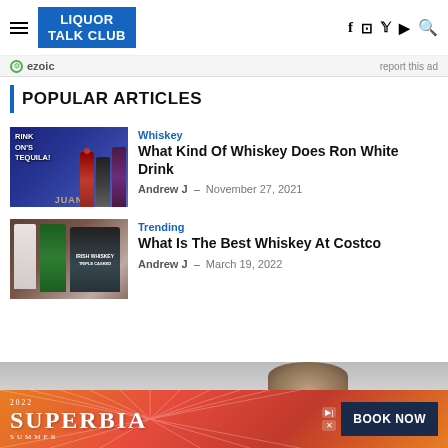LIQUOR TALK CLUB
ezoic  report this ad
POPULAR ARTICLES
[Figure (photo): Bottles of tequila displayed with text DRINK ON'S TEQUILA and JUAN brand label]
Whiskey
What Kind Of Whiskey Does Ron White Drink
Andrew J  –  November 27, 2021
[Figure (photo): Bottles of whiskey including Irish Whiskey brand]
Trending
What Is The Best Whiskey At Costco
Andrew J  –  March 19, 2022
[Figure (photo): Bottom advertisement banner: SUPERBIA SUMMER 2022 BOOK NOW]
2022 SUPERBIA SUMMER — BOOK NOW advertisement banner